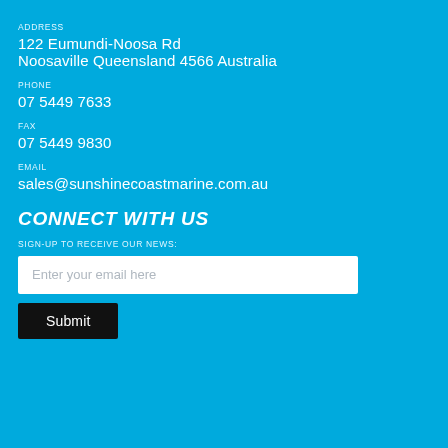ADDRESS
122 Eumundi-Noosa Rd
Noosaville Queensland 4566 Australia
PHONE
07 5449 7633
FAX
07 5449 9830
EMAIL
sales@sunshinecoastmarine.com.au
CONNECT WITH US
SIGN-UP TO RECEIVE OUR NEWS:
Enter your email here
Submit